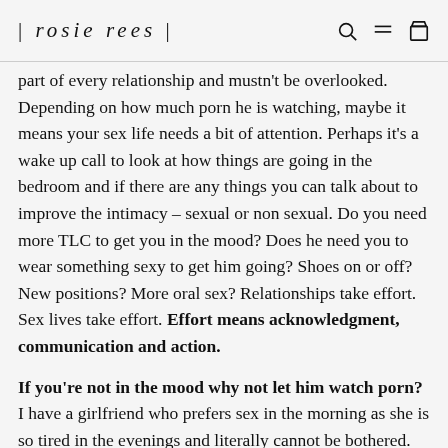| rosie rees |
part of every relationship and mustn't be overlooked. Depending on how much porn he is watching, maybe it means your sex life needs a bit of attention. Perhaps it's a wake up call to look at how things are going in the bedroom and if there are any things you can talk about to improve the intimacy – sexual or non sexual. Do you need more TLC to get you in the mood? Does he need you to wear something sexy to get him going? Shoes on or off? New positions? More oral sex? Relationships take effort. Sex lives take effort. Effort means acknowledgment, communication and action.

If you're not in the mood why not let him watch porn? I have a girlfriend who prefers sex in the morning as she is so tired in the evenings and literally cannot be bothered. They have a very